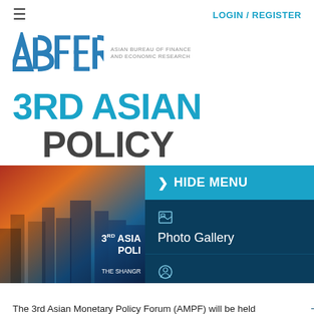≡   LOGIN / REGISTER
[Figure (logo): ABFER logo - Asian Bureau of Finance and Economic Research]
3RD ASIAN MONETARY POLICY
[Figure (photo): Event promotional banner showing cityscape with 3RD ASIAN MONETARY POLICY FORUM text and THE SHANGR-LA branding]
> HIDE MENU
Photo Gallery
Dress Code
Important Info
The 3rd Asian Monetary Policy Forum (AMPF) will be held